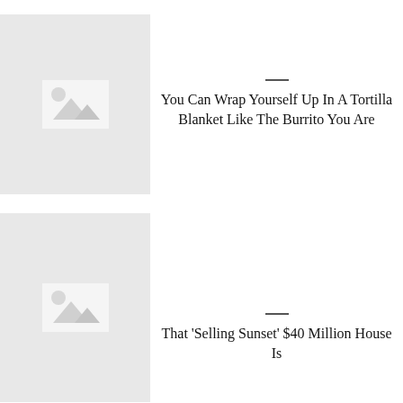[Figure (illustration): Placeholder image thumbnail with mountain/landscape icon, light gray background]
You Can Wrap Yourself Up In A Tortilla Blanket Like The Burrito You Are
[Figure (illustration): Placeholder image thumbnail with mountain/landscape icon, light gray background]
That 'Selling Sunset' $40 Million House Is